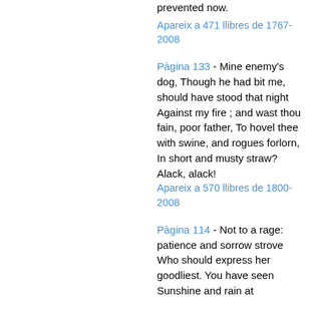prevented now.
Apareix a 471 llibres de 1767-2008
Pàgina 133 - Mine enemy's dog, Though he had bit me, should have stood that night Against my fire ; and wast thou fain, poor father, To hovel thee with swine, and rogues forlorn, In short and musty straw? Alack, alack!
Apareix a 570 llibres de 1800-2008
Pàgina 114 - Not to a rage: patience and sorrow strove Who should express her goodliest. You have seen Sunshine and rain at